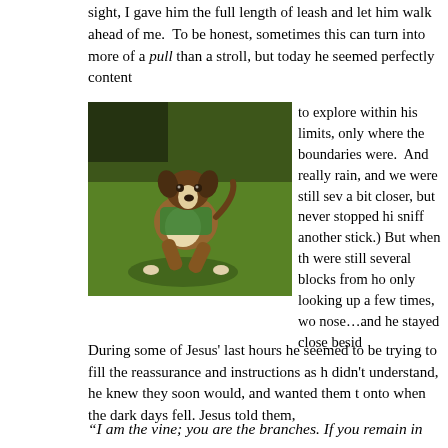sight, I gave him the full length of leash and let him walk ahead of me.  To be honest, sometimes this can turn into more of a pull than a stroll, but today he seemed perfectly content
[Figure (photo): A dog wearing a green bandana or vest running on grass in sunlight, with shadow visible on the ground.]
to explore within his limits, only where the boundaries were.  And really rain, and we were still sev a bit closer, but never stopped hi sniff another stick.) But when th were still several blocks from ho only looking up a few times, wo nose…and he stayed close besid
During some of Jesus' last hours he seemed to be trying to fill the reassurance and instructions as h didn't understand, he knew they soon would, and wanted them t onto when the dark days fell. Jesus told them,
“I am the vine; you are the branches. If you remain in